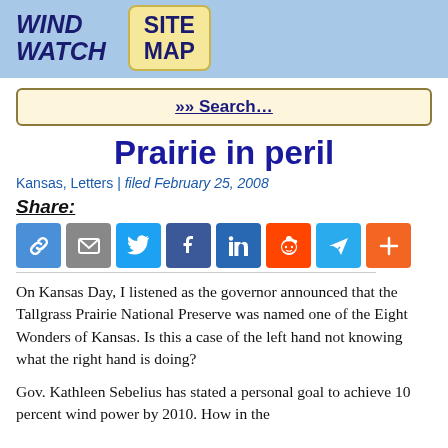WIND WATCH | SITE MAP
Prairie in peril
Kansas, Letters | filed February 25, 2008
Share:
[Figure (infographic): Row of social sharing icon buttons: link, email, Twitter, Facebook, LinkedIn, Reddit, Telegram, more (+)]
On Kansas Day, I listened as the governor announced that the Tallgrass Prairie National Preserve was named one of the Eight Wonders of Kansas. Is this a case of the left hand not knowing what the right hand is doing?
Gov. Kathleen Sebelius has stated a personal goal to achieve 10 percent wind power by 2010. How in the